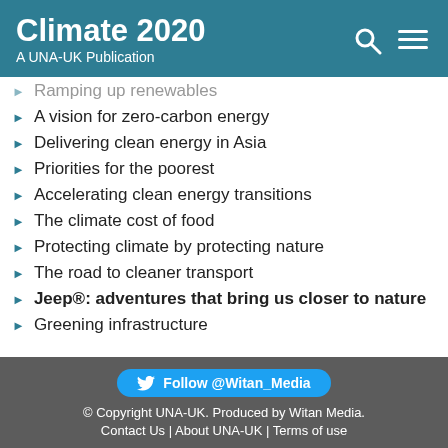Climate 2020 A UNA-UK Publication
Ramping up renewables
A vision for zero-carbon energy
Delivering clean energy in Asia
Priorities for the poorest
Accelerating clean energy transitions
The climate cost of food
Protecting climate by protecting nature
The road to cleaner transport
Jeep®: adventures that bring us closer to nature
Greening infrastructure
Follow @Witan_Media © Copyright UNA-UK. Produced by Witan Media. Contact Us | About UNA-UK | Terms of use